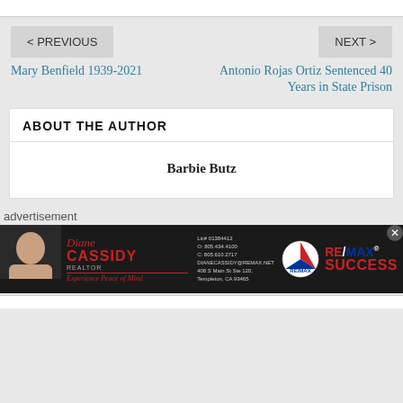< PREVIOUS
NEXT >
Mary Benfield 1939-2021
Antonio Rojas Ortiz Sentenced 40 Years in State Prison
ABOUT THE AUTHOR
Barbie Butz
advertisement
[Figure (photo): RE/MAX Success advertisement featuring Diane Cassidy, Realtor. Shows her photo on left, contact info in middle, RE/MAX logo and SUCCESS text on right.]